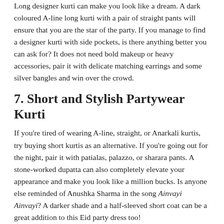Long designer kurti can make you look like a dream. A dark coloured A-line long kurti with a pair of straight pants will ensure that you are the star of the party. If you manage to find a designer kurti with side pockets, is there anything better you can ask for? It does not need bold makeup or heavy accessories, pair it with delicate matching earrings and some silver bangles and win over the crowd.
7. Short and Stylish Partywear Kurti
If you're tired of wearing A-line, straight, or Anarkali kurtis, try buying short kurtis as an alternative. If you're going out for the night, pair it with patialas, palazzo, or sharara pants. A stone-worked dupatta can also completely elevate your appearance and make you look like a million bucks. Is anyone else reminded of Anushka Sharma in the song Ainvayi Ainvayi? A darker shade and a half-sleeved short coat can be a great addition to this Eid party dress too!
8. Jacket Style Kurti
You can also opt for a jacket-style kurti if you're feeling a bit unconventional. This off-beat outfit will look stunning on you no